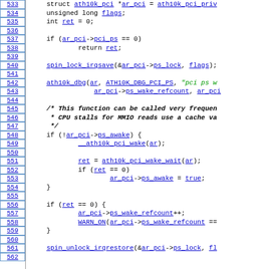[Figure (screenshot): Source code listing showing C code for a PCI power save wake function, lines 533-562, with blue hyperlinked identifiers and green string literals.]